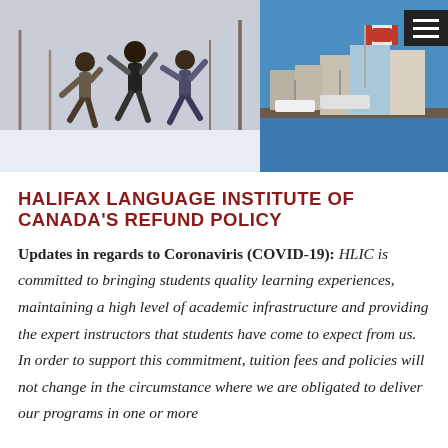[Figure (photo): Three young people jumping happily outdoors in winter, snow visible in the background, bare trees]
[Figure (photo): Halifax waterfront with Canadian flag flying, boats docked, buildings and blue sky in background]
HALIFAX LANGUAGE INSTITUTE OF CANADA'S REFUND POLICY
Updates in regards to Coronaviris (COVID-19): HLIC is committed to bringing students quality learning experiences, maintaining a high level of academic infrastructure and providing the expert instructors that students have come to expect from us. In order to support this commitment, tuition fees and policies will not change in the circumstance where we are obligated to deliver our programs in one or more alternative formats as a result of events that are beyond our